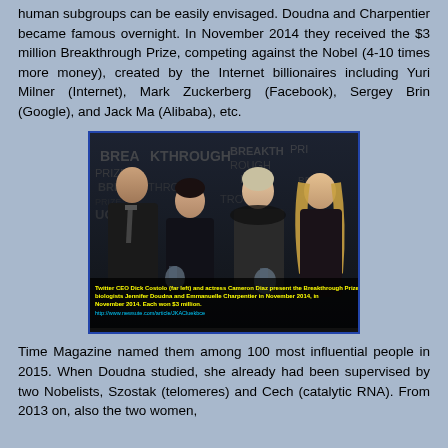human subgroups can be easily envisaged. Doudna and Charpentier became famous overnight. In November 2014 they received the $3 million Breakthrough Prize, competing against the Nobel (4-10 times more money), created by the Internet billionaires including Yuri Milner (Internet), Mark Zuckerberg (Facebook), Sergey Brin (Google), and Jack Ma (Alibaba), etc.
[Figure (photo): Twitter CEO Dick Costolo (far left) and actress Cameron Diaz present the Breakthrough Prize to biologists Jennifer Doudna and Emmanuelle Charpentier in November 2014 in California. Each won $3 million. Photo from newsute.com/article/JKACluekbce]
Time Magazine named them among 100 most influential people in 2015. When Doudna studied, she already had been supervised by two Nobelists, Szostak (telomeres) and Cech (catalytic RNA). From 2013 on, also the two women,